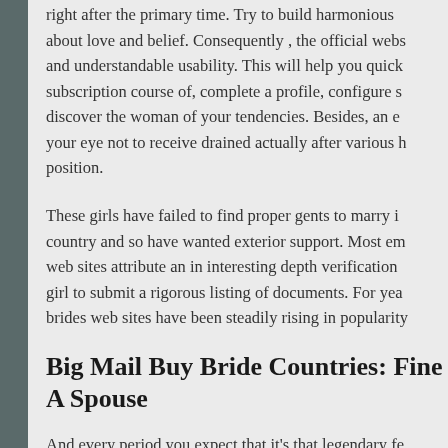right after the primary time. Try to build harmonious about love and belief. Consequently , the official webs and understandable usability. This will help you quick subscription course of, complete a profile, configure s discover the woman of your tendencies. Besides, an e your eye not to receive drained actually after various h position.
These girls have failed to find proper gents to marry i country and so have wanted exterior support. Most em web sites attribute an in interesting depth verification girl to submit a rigorous listing of documents. For yea brides web sites have been steadily rising in popularity
Big Mail Buy Bride Countries: Fine A Spouse
And every period you expect that it's that legendary fe future. Even when you don't really feel tense through isn't any assure intended for future progress. You spen gifts, toys & bouquets, preserve calm through her capi